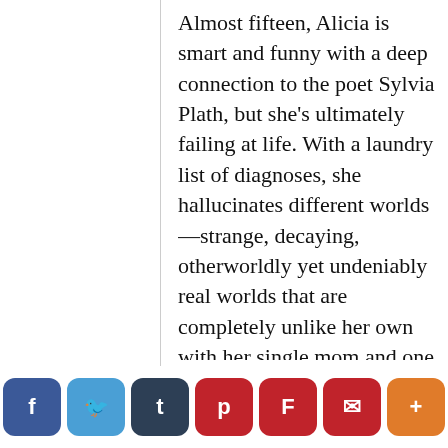Almost fifteen, Alicia is smart and funny with a deep connection to the poet Sylvia Plath, but she's ultimately failing at life. With a laundry list of diagnoses, she hallucinates different worlds—strange, decaying, otherworldly yet undeniably real worlds that are completely unlike her own with her single mom and one true friend. In one particularly vivid hallucination, Alicia is drawn to a boy her own age named Jax who's trapped in a dying universe. Days later, her long-lost father shows up at her birthday party, telling her that the hallucinations aren't